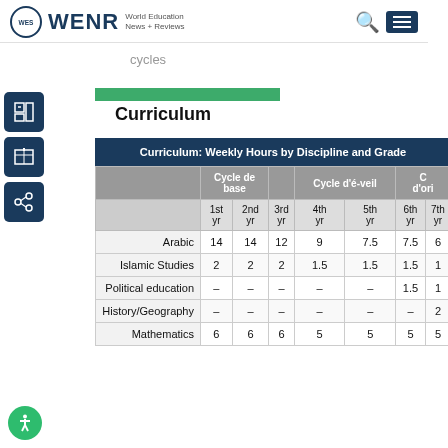WENR World Education News + Reviews
Curriculum
|  | Cycle de base 1st yr | Cycle de base 2nd yr | Cycle de base 3rd yr | Cycle d'é-veil 4th yr | Cycle d'é-veil 5th yr | d'ori 6th yr | d'ori 7th yr |
| --- | --- | --- | --- | --- | --- | --- | --- |
| Arabic | 14 | 14 | 12 | 9 | 7.5 | 7.5 | 6 |
| Islamic Studies | 2 | 2 | 2 | 1.5 | 1.5 | 1.5 | 1 |
| Political education | – | – | – | – | – | 1.5 | 1 |
| History/Geography | – | – | – | – | – | – | 2 |
| Mathematics | 6 | 6 | 6 | 5 | 5 | 5 | 5 |